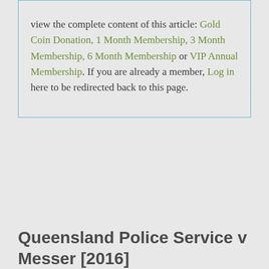view the complete content of this article: Gold Coin Donation, 1 Month Membership, 3 Month Membership, 6 Month Membership or VIP Annual Membership. If you are already a member, Log in here to be redirected back to this page.
Queensland Police Service v Messer [2016]